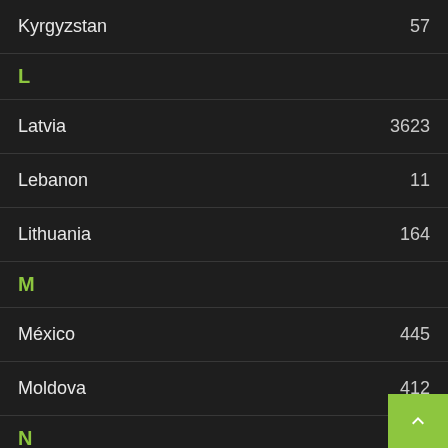Kyrgyzstan 57
L
Latvia 3623
Lebanon 11
Lithuania 164
M
México 445
Moldova 412
N
Netherlands 1965
New Zealand 40
Norway 191
P
PALESTINE 3
Panama